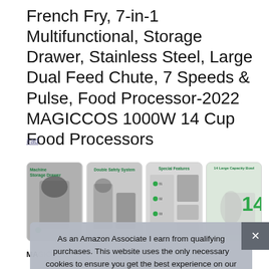French Fry, 7-in-1 Multifunctional, Storage Drawer, Stainless Steel, Large Dual Feed Chute, 7 Speeds & Pulse, Food Processor-2022 MAGICCOS 1000W 14 Cup Food Processors
#ad
[Figure (photo): Four product image thumbnails showing the MAGICCOS food processor: 1) Machine Storage Drawer, 2) Double Safety System, 3) Special Features, 4) 14 Large Capacity Bowl]
As an Amazon Associate I earn from qualifying purchases. This website uses the only necessary cookies to ensure you get the best experience on our website. More information
MAGICCOS... or a... speeds & pulse settings there are 1-7 speed gears from slow